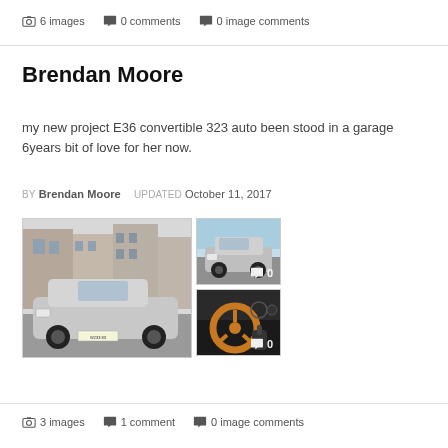📷 6 images  💬 0 comments  💬 0 image comments
Brendan Moore
my new project E36 convertible 323 auto been stood in a garage 6years bit of love for her now.
BY Brendan Moore  UPDATED October 11, 2017
[Figure (photo): Three car photos: main large image of a silver BMW E36 convertible parked on a street, plus two thumbnails — one of the car from front angle, one of the interior steering wheel.]
📷 3 images  💬 1 comment  💬 0 image comments